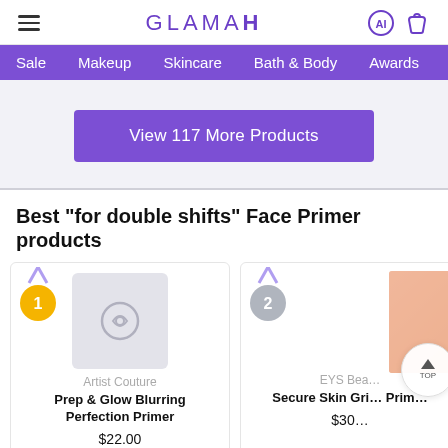GLAMAI
Sale  Makeup  Skincare  Bath & Body  Awards  Rankings
View 117 More Products
Best "for double shifts" Face Primer products
[Figure (other): Product card rank 1: Artist Couture Prep & Glow Blurring Perfection Primer, gold medal badge, placeholder product image]
Artist Couture
Prep & Glow Blurring Perfection Primer
$22.00
[Figure (other): Product card rank 2: EYS Beauty Secure Skin Grip Primer, silver medal badge, partial product image visible]
EYS Beauty
Secure Skin Grip Primer
$30